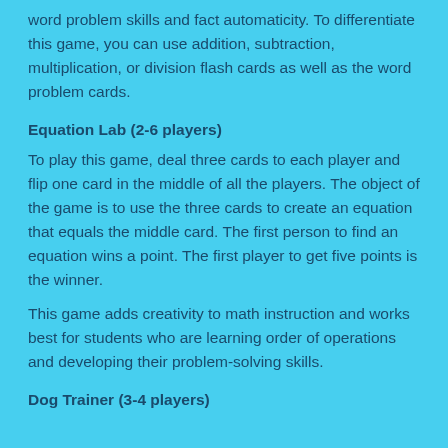word problem skills and fact automaticity. To differentiate this game, you can use addition, subtraction, multiplication, or division flash cards as well as the word problem cards.
Equation Lab (2-6 players)
To play this game, deal three cards to each player and flip one card in the middle of all the players. The object of the game is to use the three cards to create an equation that equals the middle card. The first person to find an equation wins a point. The first player to get five points is the winner.
This game adds creativity to math instruction and works best for students who are learning order of operations and developing their problem-solving skills.
Dog Trainer (3-4 players)